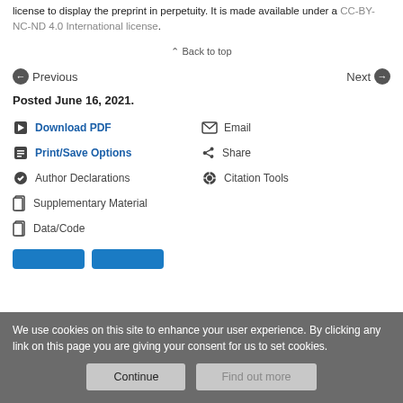license to display the preprint in perpetuity. It is made available under a CC-BY-NC-ND 4.0 International license.
Back to top
Previous   Next
Posted June 16, 2021.
Download PDF
Email
Print/Save Options
Share
Author Declarations
Citation Tools
Supplementary Material
Data/Code
We use cookies on this site to enhance your user experience. By clicking any link on this page you are giving your consent for us to set cookies.
Continue   Find out more